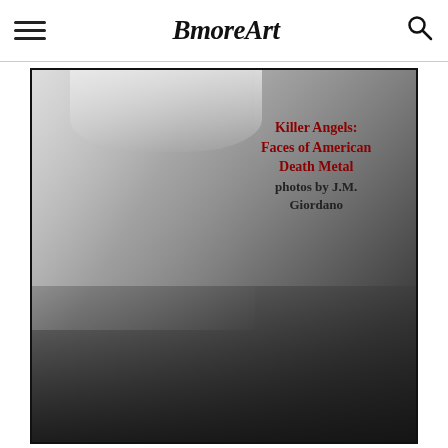BmoreArt
[Figure (photo): Black and white photograph of a woman with blonde hair, dramatic dark makeup, black lipstick, wearing a latex corset and collar, raising her middle finger. Overlaid text reads: 'Killer Angels: Faces of American Death Metal photos by J.M. Giordano']